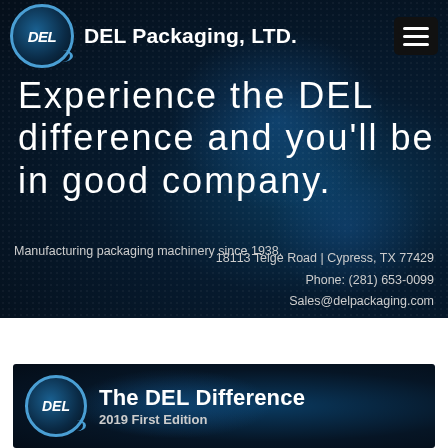[Figure (logo): DEL Packaging LTD logo with circular DEL emblem and hamburger menu icon on dark blue background]
Experience the DEL difference and you’ll be in good company.
18113 Telge Road | Cypress, TX 77429
Manufacturing packaging machinery since 1938.
Phone: (281) 653-0099
Sales@delpackaging.com
[Figure (logo): DEL Packaging logo banner with DEL circular emblem, title 'The DEL Difference' and subtitle '2019 First Edition' on dark blue background]